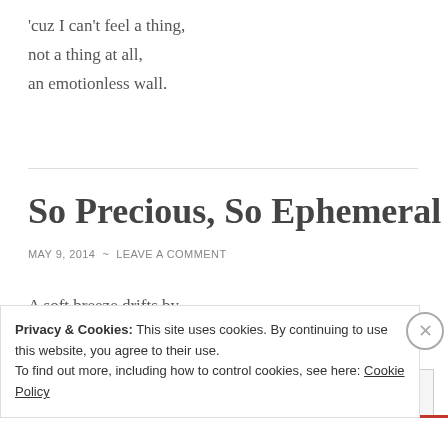'cuz I can't feel a thing,
not a thing at all,
an emotionless wall.
So Precious, So Ephemeral
MAY 9, 2014  ~  LEAVE A COMMENT
A soft breeze drifts by
Privacy & Cookies: This site uses cookies. By continuing to use this website, you agree to their use.
To find out more, including how to control cookies, see here: Cookie Policy
Close and accept